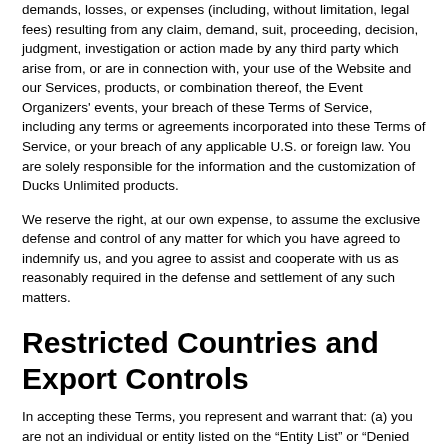demands, losses, or expenses (including, without limitation, legal fees) resulting from any claim, demand, suit, proceeding, decision, judgment, investigation or action made by any third party which arise from, or are in connection with, your use of the Website and our Services, products, or combination thereof, the Event Organizers' events, your breach of these Terms of Service, including any terms or agreements incorporated into these Terms of Service, or your breach of any applicable U.S. or foreign law. You are solely responsible for the information and the customization of Ducks Unlimited products.
We reserve the right, at our own expense, to assume the exclusive defense and control of any matter for which you have agreed to indemnify us, and you agree to assist and cooperate with us as reasonably required in the defense and settlement of any such matters.
Restricted Countries and Export Controls
In accepting these Terms, you represent and warrant that: (a) you are not an individual or entity listed on the "Entity List" or "Denied Persons List" maintained by the U.S. Department of Commerce or the list of "Specifically Designated Nationals and Blocked Persons" maintained by the U.S. Department of Treasury, and you are not otherwise prohibited or restricted under any United States export control laws and regulations, (b) you are not an individual or entity that resides in a country designated by the U.S. Department of Treasury or Commerce or any other U.S. Government agency as subject to sanctions or other similar restrictions that would prohibit the use of the Services and the Website on any